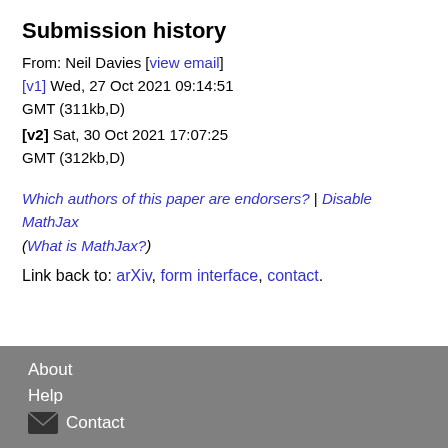Submission history
From: Neil Davies [view email]
[v1] Wed, 27 Oct 2021 09:14:51 GMT (311kb,D)
[v2] Sat, 30 Oct 2021 17:07:25 GMT (312kb,D)
Which authors of this paper are endorsers? | Disable MathJax (What is MathJax?)
Link back to: arXiv, form interface, contact.
About
Help
Contact